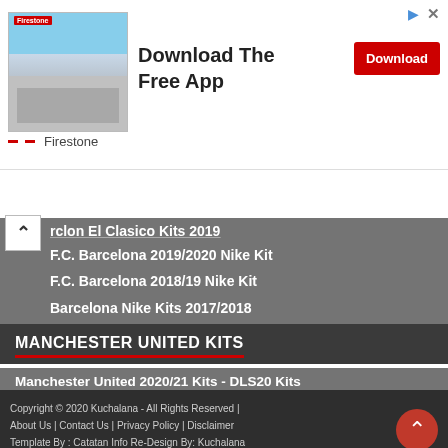[Figure (screenshot): Firestone advertisement banner showing a building/store image on the left, 'Download The Free App' text in the center, a red Download button on the right, and Firestone branding at the bottom left.]
rclon El Clasico Kits 2019 (partially visible)
F.C. Barcelona 2019/2020 Nike Kit
F.C. Barcelona 2018/19 Nike Kit
Barcelona Nike Kits 2017/2018
MANCHESTER UNITED KITS
Manchester United 2020/21 Kits - DLS20 Kits
Manchester United 2020/21 Kits - DLS2019 Kits
Manchester United 2019/2020 Kit - DLS20 Kits
Manchester United 2019/2020 Kit
Manchester United 2018/19 Kit
Copyright © 2020 Kuchalana - All Rights Reserved | About Us | Contact Us | Privacy Policy | Disclaimer  Template By : Catatan Info Re-Design By: Kuchalana